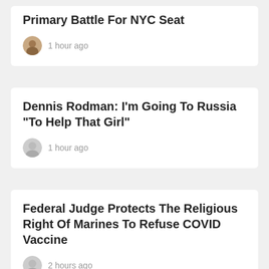Primary Battle For NYC Seat
1 hour ago
Dennis Rodman: I'm Going To Russia "To Help That Girl"
1 hour ago
Federal Judge Protects The Religious Right Of Marines To Refuse COVID Vaccine
2 hours ago